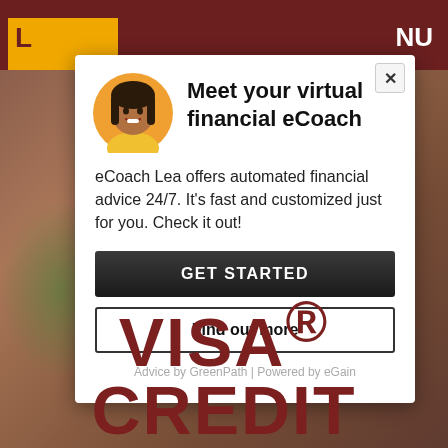[Figure (screenshot): Website screenshot showing a modal popup for a virtual financial eCoach named Lea, overlaying a credit card product page. Background shows a dark maroon header and blurred photo of a person. Bottom shows 'VISA® CREDIT' text in large maroon letters.]
Meet your virtual financial eCoach
eCoach Lea offers automated financial advice 24/7. It's fast and customized just for you. Check it out!
GET STARTED
Find out more
Advice by GreenPath | Powered by eGain
VISA® CREDIT